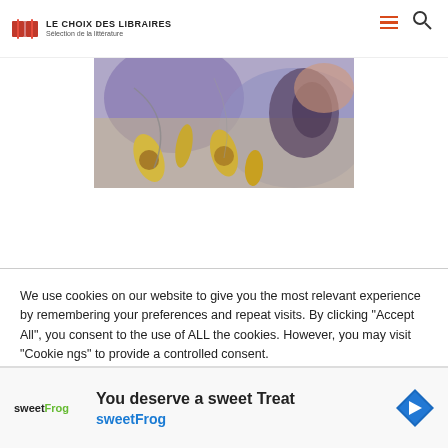LE CHOIX DES LIBRAIRES — Sélection de la littérature
[Figure (photo): Book cover image showing an artistic painting with yellow banana/fig shapes, purple and blue tones, abstract organic forms]
We use cookies on our website to give you the most relevant experience by remembering your preferences and repeat visits. By clicking "Accept All", you consent to the use of ALL the cookies. However, you may visit "Cookie ngs" to provide a controlled consent.
[Figure (screenshot): Advertisement banner for sweetFrog: 'You deserve a sweet Treat' with sweetFrog logo and navigation arrow icon]